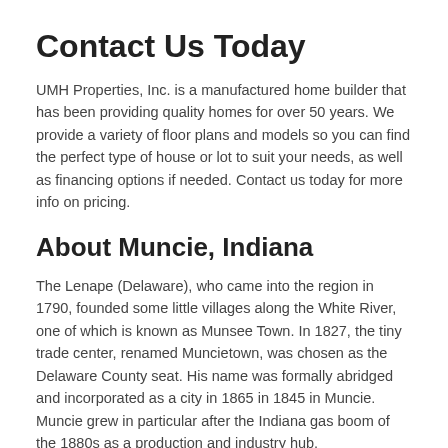Contact Us Today
UMH Properties, Inc. is a manufactured home builder that has been providing quality homes for over 50 years. We provide a variety of floor plans and models so you can find the perfect type of house or lot to suit your needs, as well as financing options if needed. Contact us today for more info on pricing.
About Muncie, Indiana
The Lenape (Delaware), who came into the region in 1790, founded some little villages along the White River, one of which is known as Munsee Town. In 1827, the tiny trade center, renamed Muncietown, was chosen as the Delaware County seat. His name was formally abridged and incorporated as a city in 1865 in 1845 in Muncie. Muncie grew in particular after the Indiana gas boom of the 1880s as a production and industry hub.
Ball State University was founded in 1969 as a private